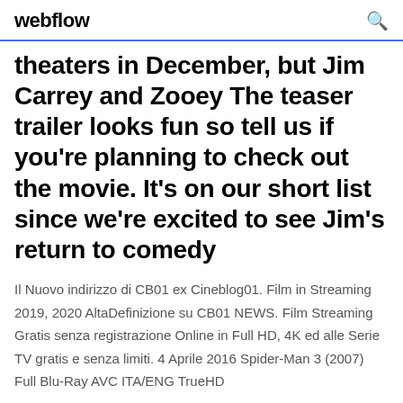webflow
theaters in December, but Jim Carrey and Zooey The teaser trailer looks fun so tell us if you're planning to check out the movie. It's on our short list since we're excited to see Jim's return to comedy
Il Nuovo indirizzo di CB01 ex Cineblog01. Film in Streaming 2019, 2020 AltaDefinizione su CB01 NEWS. Film Streaming Gratis senza registrazione Online in Full HD, 4K ed alle Serie TV gratis e senza limiti. 4 Aprile 2016 Spider-Man 3 (2007) Full Blu-Ray AVC ITA/ENG TrueHD